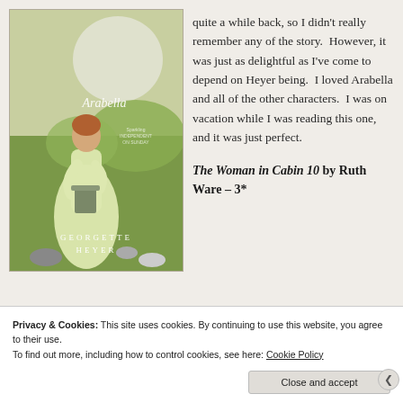[Figure (illustration): Book cover of 'Arabella' by Georgette Heyer — a woman in a pale yellow Regency-era dress standing outdoors with birds, painted illustration style. Text on cover reads 'Arabella', 'Sparkling Independent on Sunday', 'Georgette Heyer'.]
quite a while back, so I didn't really remember any of the story. However, it was just as delightful as I've come to depend on Heyer being. I loved Arabella and all of the other characters. I was on vacation while I was reading this one, and it was just perfect.
The Woman in Cabin 10 by Ruth Ware – 3*
Privacy & Cookies: This site uses cookies. By continuing to use this website, you agree to their use.
To find out more, including how to control cookies, see here: Cookie Policy